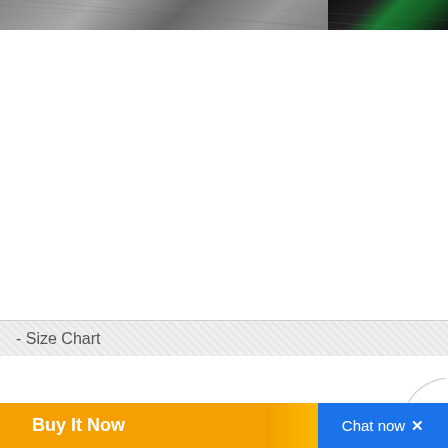[Figure (photo): Partial photo of a product (appears to be a sports/hockey stick or similar item) with dark/gray textured surface and green label visible at top right corner.]
- Size Chart
Buy It Now
Chat now